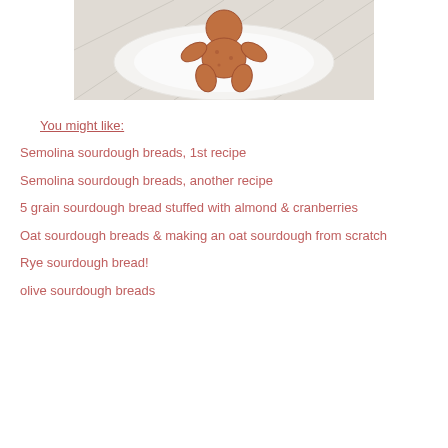[Figure (photo): A gingerbread man cookie on a white plate, photographed from above on a light geometric tile background.]
You might like:
Semolina sourdough breads, 1st recipe
Semolina sourdough breads, another recipe
5 grain sourdough bread stuffed with almond & cranberries
Oat sourdough breads & making an oat sourdough from scratch
Rye sourdough bread!
olive sourdough breads